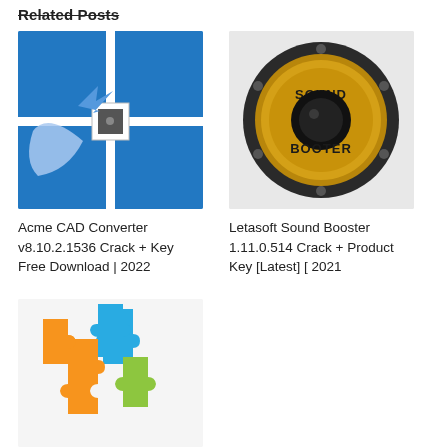Related Posts
[Figure (logo): Acme CAD Converter logo - blue square with cross-hair grid and crescent/arrow symbol]
[Figure (logo): Letasoft Sound Booster logo - gold speaker woofer with SOUND BOOSTER text]
Acme CAD Converter v8.10.2.1536 Crack + Key Free Download | 2022
Letasoft Sound Booster 1.11.0.514 Crack + Product Key [Latest] [ 2021
[Figure (logo): Colorful puzzle pieces logo - blue, orange, and green/yellow interlocking puzzle pieces]